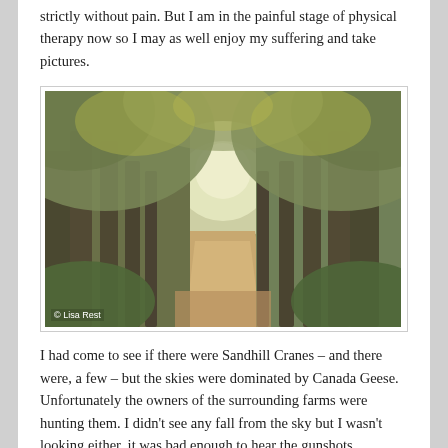strictly without pain. But I am in the painful stage of physical therapy now so I may as well enjoy my suffering and take pictures.
[Figure (photo): A dirt trail through an archway of trees with autumn foliage, taken at a nature preserve. Copyright © Lisa Rest.]
I had come to see if there were Sandhill Cranes – and there were, a few – but the skies were dominated by Canada Geese. Unfortunately the owners of the surrounding farms were hunting them. I didn't see any fall from the sky but I wasn't looking either, it was bad enough to hear the gunshots. Something else to think about when I visit this place in the fall.